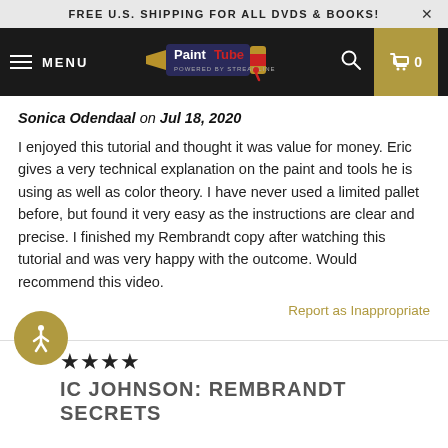FREE U.S. SHIPPING FOR ALL DVDS & BOOKS!
[Figure (logo): PaintTube logo with navigation bar on dark background including hamburger menu, MENU text, PaintTube logo, search icon, and cart]
Sonica Odendaal on Jul 18, 2020
I enjoyed this tutorial and thought it was value for money. Eric gives a very technical explanation on the paint and tools he is using as well as color theory. I have never used a limited pallet before, but found it very easy as the instructions are clear and precise. I finished my Rembrandt copy after watching this tutorial and was very happy with the outcome. Would recommend this video.
Report as Inappropriate
★★★★
IC JOHNSON: REMBRANDT SECRETS